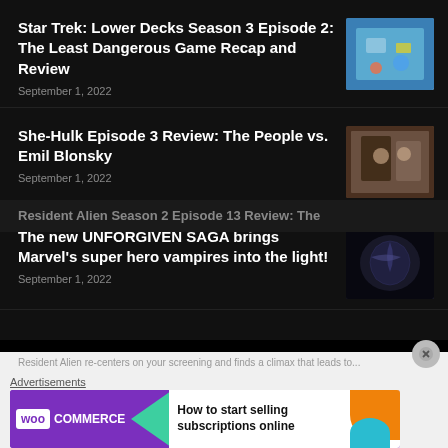Star Trek: Lower Decks Season 3 Episode 2: The Least Dangerous Game Recap and Review
September 1, 2022
[Figure (photo): Animated Star Trek scene thumbnail]
She-Hulk Episode 3 Review: The People vs. Emil Blonsky
September 1, 2022
[Figure (photo): She-Hulk courtroom scene thumbnail]
The new UNFORGIVEN SAGA brings Marvel's super hero vampires into the light!
September 1, 2022
[Figure (photo): Dark Marvel vampire comic art thumbnail]
Resident Alien Season 2 Episode 13 Review: The...
Advertisements
[Figure (screenshot): WooCommerce advertisement banner - How to start selling subscriptions online]